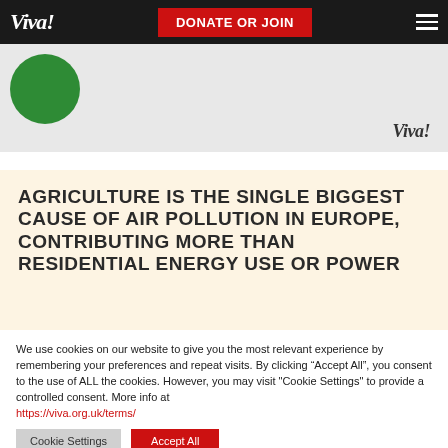Viva! | DONATE OR JOIN
[Figure (illustration): Light grey banner with a green circle on the left and a Viva! italic watermark on the right]
AGRICULTURE IS THE SINGLE BIGGEST CAUSE OF AIR POLLUTION IN EUROPE, CONTRIBUTING MORE THAN RESIDENTIAL ENERGY USE OR POWER
We use cookies on our website to give you the most relevant experience by remembering your preferences and repeat visits. By clicking “Accept All”, you consent to the use of ALL the cookies. However, you may visit "Cookie Settings" to provide a controlled consent. More info at https://viva.org.uk/terms/